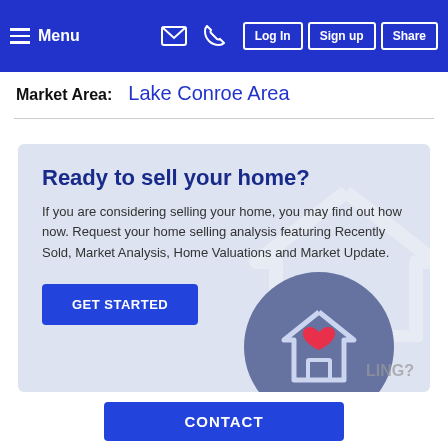Menu | Log In | Sign up | Share
Market Area: Lake Conroe Area
[Figure (illustration): Promotional card with blue background promoting home selling. Contains heading 'Ready to sell your home?', descriptive text, GET STARTED button, and a house icon with heart on circular grey background. Faded white house outline in background.]
CONTACT